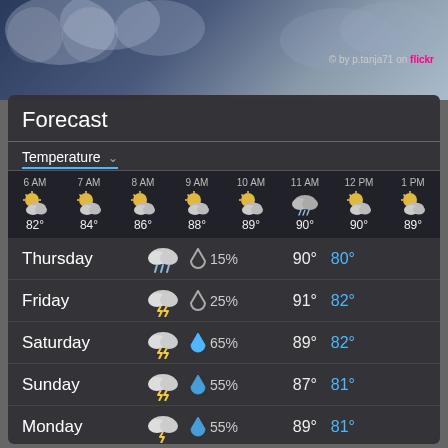[Figure (photo): Cloudy sky background photo with Flickr watermark]
© by p.tanja71 on flickr
Forecast
Temperature ▾
| Time | Icon | Temp |
| --- | --- | --- |
| 6 AM | partly cloudy | 82° |
| 7 AM | partly cloudy | 84° |
| 8 AM | partly cloudy | 86° |
| 9 AM | partly cloudy | 88° |
| 10 AM | partly cloudy | 89° |
| 11 AM | rain/cloud | 90° |
| 12 PM | partly cloudy | 90° |
| 1 PM | partly cloudy | 89° |
| Day | Condition | Precip% | High | Low |
| --- | --- | --- | --- | --- |
| Thursday | rain cloud | 15% | 90° | 80° |
| Friday | thunderstorm | 25% | 91° | 82° |
| Saturday | thunderstorm | 65% | 89° | 82° |
| Sunday | thunderstorm | 55% | 87° | 81° |
| Monday | thunderstorm | 55% | 89° | 81° |
| Tuesday | thunderstorm | 5% | 89° | 81° |
| Wednesday | thunderstorm | 45% | 90° | 82° |